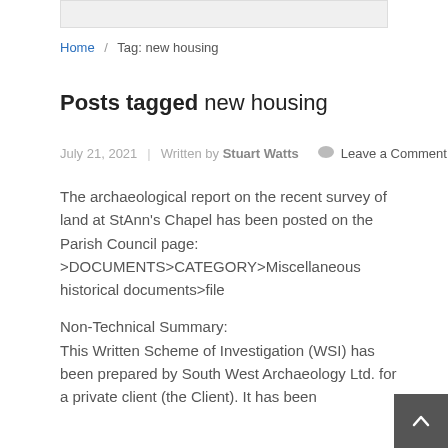Home / Tag: new housing
Posts tagged new housing
July 21, 2021  |  Written by Stuart Watts   Leave a Comment
The archaeological report on the recent survey of land at StAnn's Chapel has been posted on the Parish Council page: >DOCUMENTS>CATEGORY>Miscellaneous historical documents>file

Non-Technical Summary:
This Written Scheme of Investigation (WSI) has been prepared by South West Archaeology Ltd. for a private client (the Client). It has been